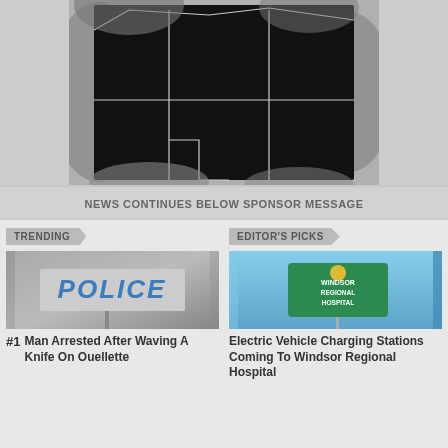[Figure (map): Dark black-and-white aerial or satellite map showing county/region boundaries with white border lines on black background, surrounded by rocky/landscape edges]
NEWS CONTINUES BELOW SPONSOR MESSAGE
TRENDING
EDITOR'S PICKS
[Figure (photo): Photo of a police sign with blue letters 'POLICE' on a grey background]
[Figure (photo): Photo of Windsor Regional Hospital sign on a green background against a blue sky]
#1 Man Arrested After Waving A Knife On Ouellette
Electric Vehicle Charging Stations Coming To Windsor Regional Hospital